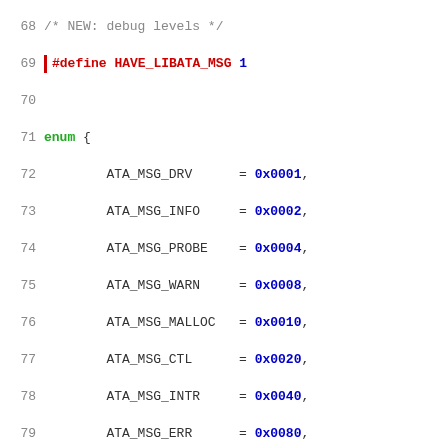[Figure (screenshot): Source code listing in a code editor showing C header file with enum definition and #define macros for ATA message debug levels. Lines 68-94 visible. Syntax highlighted: keywords in green/red, values in blue, comments in gray.]